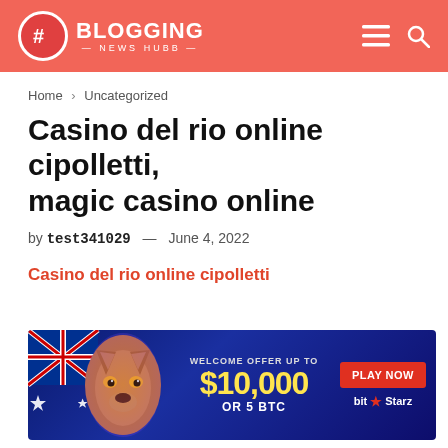BLOGGING NEWS HUBB
Home > Uncategorized
Casino del rio online cipolletti, magic casino online
by test341029 — June 4, 2022
Casino del rio online cipolletti
[Figure (infographic): BitStarz casino banner advertisement: Welcome offer up to $10,000 or 5 BTC. Play Now button. Features wolf and Australian flag imagery on dark blue background.]